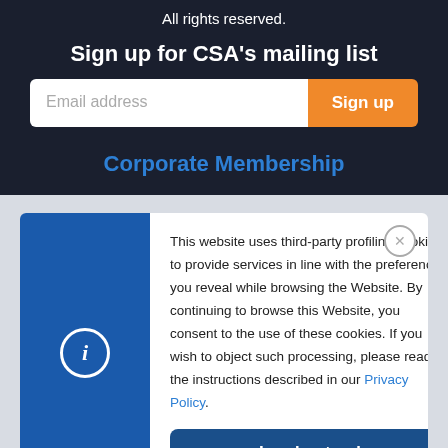All rights reserved.
Sign up for CSA's mailing list
Email address
Sign up
Corporate Membership
This website uses third-party profiling cookies to provide services in line with the preferences you reveal while browsing the Website. By continuing to browse this Website, you consent to the use of these cookies. If you wish to object such processing, please read the instructions described in our Privacy Policy.
I understand